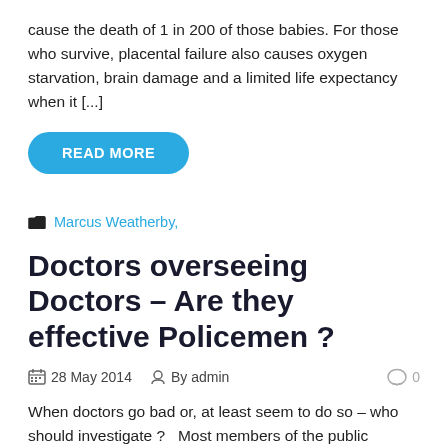cause the death of 1 in 200 of those babies. For those who survive, placental failure also causes oxygen starvation, brain damage and a limited life expectancy when it [...]
READ MORE
Marcus Weatherby,
Doctors overseeing Doctors – Are they effective Policemen ?
28 May 2014  By admin  0
When doctors go bad or, at least seem to do so – who should investigate ?   Most members of the public assume an independent investigation is a